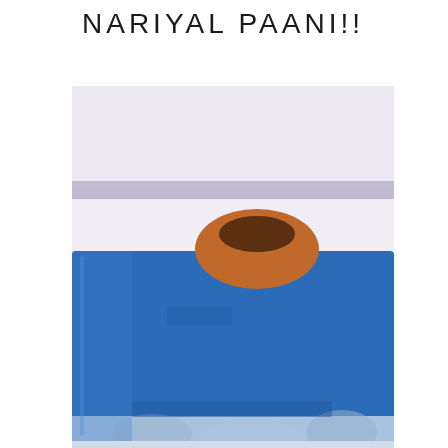NARIYAL PAANI!!
[Figure (photo): A blurry photograph showing a large blue rectangular object (possibly a tank or container) with an orange/brown rounded shape visible at the top center. The bottom of the image shows blurred white/blue shapes. The background is light lavender/white. A horizontal purple/lavender band runs across the upper portion of the image.]